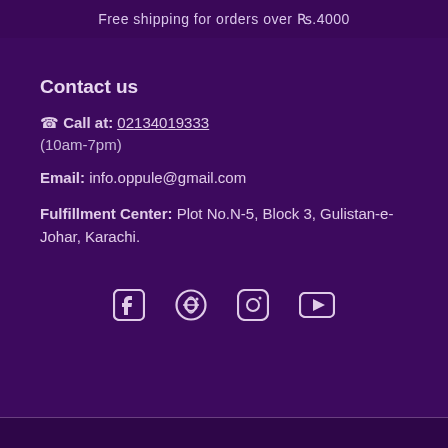Free shipping for orders over Rs.4000
Contact us
📞 Call at: 02134019333 (10am-7pm)
Email: info.oppule@gmail.com
Fulfillment Center: Plot No.N-5, Block 3, Gulistan-e-Johar, Karachi.
[Figure (other): Social media icons: Facebook, Pinterest, Instagram, YouTube]